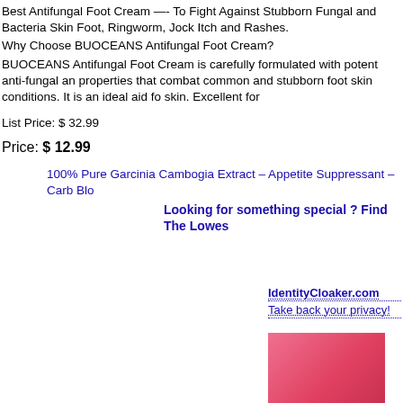Best Antifungal Foot Cream —- To Fight Against Stubborn Fungal and Bacteria Skin Foot, Ringworm, Jock Itch and Rashes.
Why Choose BUOCEANS Antifungal Foot Cream?
BUOCEANS Antifungal Foot Cream is carefully formulated with potent anti-fungal and properties that combat common and stubborn foot skin conditions. It is an ideal aid for skin. Excellent for
List Price: $ 32.99
Price: $ 12.99
100% Pure Garcinia Cambogia Extract – Appetite Suppressant – Carb Blo
Looking for something special ? Find The Lowes
IdentityCloaker.com
Take back your privacy!
[Figure (photo): Person wearing pink athletic shorts, cropped image showing torso and legs]